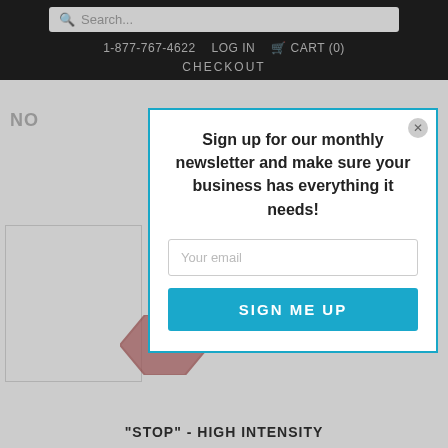Search...  1-877-767-4622  LOG IN  CART (0)  CHECKOUT
NO
[Figure (other): Partial stop sign (octagon shape, red/pink color) visible at bottom center of background page]
"STOP" - HIGH INTENSITY
Sign up for our monthly newsletter and make sure your business has everything it needs!
Your email
SIGN ME UP